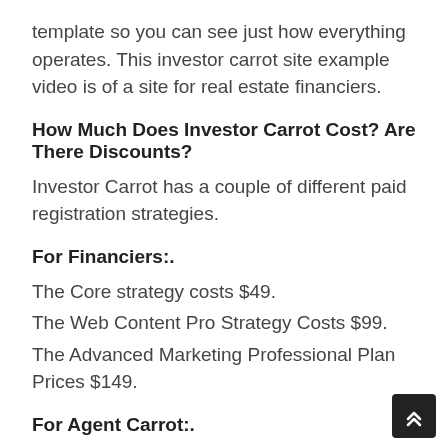template so you can see just how everything operates. This investor carrot site example video is of a site for real estate financiers.
How Much Does Investor Carrot Cost? Are There Discounts?
Investor Carrot has a couple of different paid registration strategies.
For Financiers:.
The Core strategy costs $49.
The Web Content Pro Strategy Costs $99.
The Advanced Marketing Professional Plan Prices $149.
For Agent Carrot:.
Web Content Pro Cost $99.